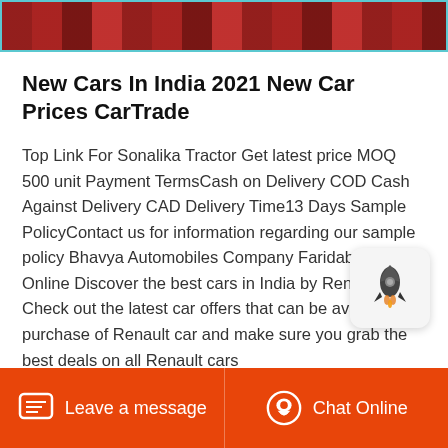[Figure (photo): Partial image of cars in red/brown tones, cropped at top of page]
New Cars In India 2021 New Car Prices CarTrade
Top Link For Sonalika Tractor Get latest price MOQ 500 unit Payment TermsCash on Delivery COD Cash Against Delivery CAD Delivery Time13 Days Sample PolicyContact us for information regarding our sample policy Bhavya Automobiles Company Faridabad India Online Discover the best cars in India by Renault Check out the latest car offers that can be availed on purchase of Renault car and make sure you grab the best deals on all Renault cars
[Figure (illustration): Rocket icon widget floating on right side]
Leave a message   Chat Online